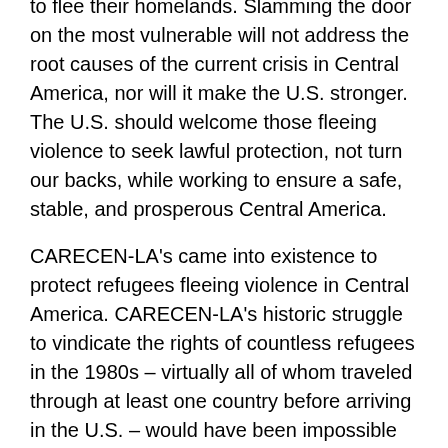to flee their homelands. Slamming the door on the most vulnerable will not address the root causes of the current crisis in Central America, nor will it make the U.S. stronger. The U.S. should welcome those fleeing violence to seek lawful protection, not turn our backs, while working to ensure a safe, stable, and prosperous Central America.
CARECEN-LA's came into existence to protect refugees fleeing violence in Central America. CARECEN-LA's historic struggle to vindicate the rights of countless refugees in the 1980s – virtually all of whom traveled through at least one country before arriving in the U.S. – would have been impossible had this draconian rule existed then. Years later, Central American refugees have become an integral part of the fabric of California and the nation.